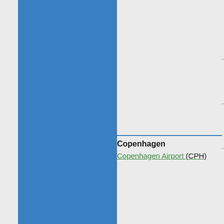[Figure (illustration): Blue rectangular panel on the left side of the page]
Copenhagen
Copenhagen Airport (CPH)